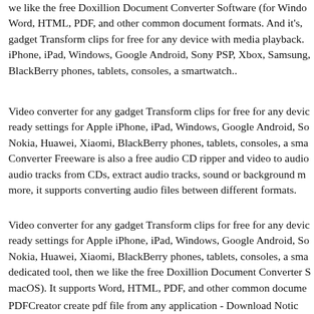we like the free Doxillion Document Converter Software (for Windows, Word, HTML, PDF, and other common document formats. And it's, gadget Transform clips for free for any device with media playback. iPhone, iPad, Windows, Google Android, Sony PSP, Xbox, Samsung, BlackBerry phones, tablets, consoles, a smartwatch..
Video converter for any gadget Transform clips for free for any device ready settings for Apple iPhone, iPad, Windows, Google Android, Sony Nokia, Huawei, Xiaomi, BlackBerry phones, tablets, consoles, a smartwatch. Converter Freeware is also a free audio CD ripper and video to audio converter audio tracks from CDs, extract audio tracks, sound or background music more, it supports converting audio files between different formats.
Video converter for any gadget Transform clips for free for any device ready settings for Apple iPhone, iPad, Windows, Google Android, Sony Nokia, Huawei, Xiaomi, BlackBerry phones, tablets, consoles, a smartwatch. dedicated tool, then we like the free Doxillion Document Converter Software (macOS). It supports Word, HTML, PDF, and other common document formats.
PDFCreator create pdf file from any application - Download Notice